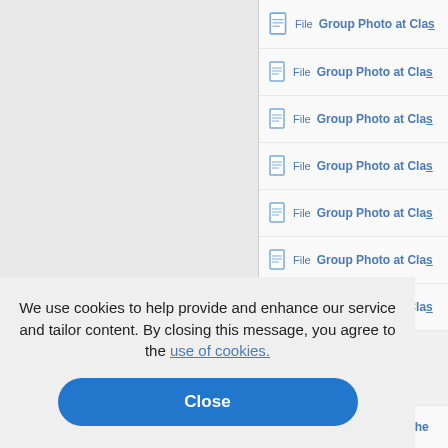File  Group Photo at Clas
File  Group Photo at Clas
File  Group Photo at Clas
File  Group Photo at Clas
File  Group Photo at Clas
File  Group Photo at Clas
File  Group Photo at Clas
Photo at the
s
Photo at The
Photo at The
Photo at The
File  Group Photo at The
We use cookies to help provide and enhance our service and tailor content. By closing this message, you agree to the use of cookies.
Close